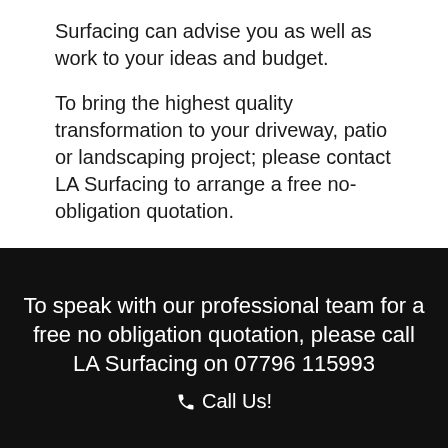Surfacing can advise you as well as work to your ideas and budget.
To bring the highest quality transformation to your driveway, patio or landscaping project; please contact LA Surfacing to arrange a free no-obligation quotation.
To speak with our professional team for a free no obligation quotation, please call LA Surfacing on 07796 115993
📞 Call Us!